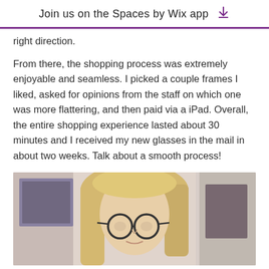Join us on the Spaces by Wix app ⬇
right direction.
From there, the shopping process was extremely enjoyable and seamless. I picked a couple frames I liked, asked for opinions from the staff on which one was more flattering, and then paid via a iPad. Overall, the entire shopping experience lasted about 30 minutes and I received my new glasses in the mail in about two weeks. Talk about a smooth process!
[Figure (photo): Photo of a blonde woman wearing round glasses, viewed from slightly above, with artwork visible in the background on left and right sides.]